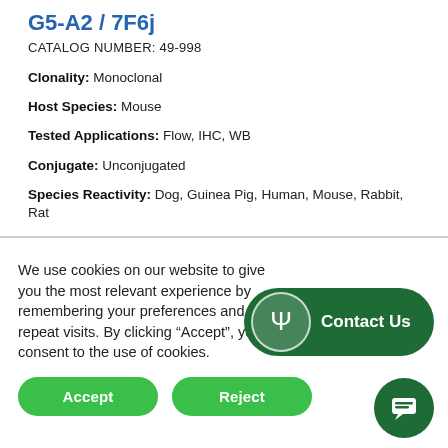G5-A2 / 7F6j
CATALOG NUMBER: 49-998
Clonality: Monoclonal
Host Species: Mouse
Tested Applications: Flow, IHC, WB
Conjugate: Unconjugated
Species Reactivity: Dog, Guinea Pig, Human, Mouse, Rabbit, Rat
We use cookies on our website to give you the most relevant experience by remembering your preferences and repeat visits. By clicking “Accept”, you consent to the use of cookies.
[Figure (other): Green rounded rectangle Contact Us button with psi symbol icon]
[Figure (other): Green circle chat bubble button]